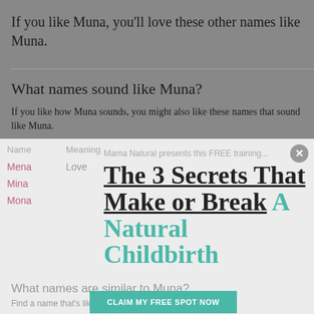If you like Muna, you'll love these other names like Muna.
What names sound like Muna?
If you like how Muna sounds, you might also like these names that sound like Muna.
| Name | Meaning |
| --- | --- |
| Mena | Love |
| Mina |  |
| Mona |  |
Mama Natural presents this FREE training...
The 3 Secrets That Make or Break A Natural Childbirth
What names are similar to Muna?
Find a name that's like Muna, but just a little bit different.
CLAIM MY FREE SPOT NOW